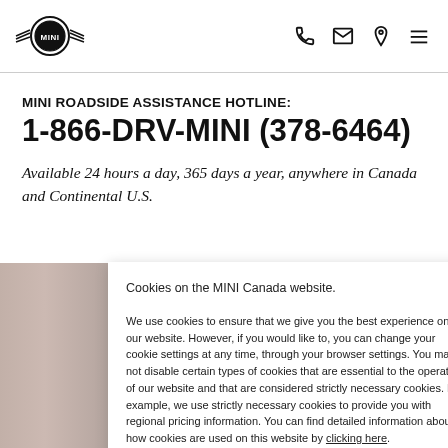MINI logo and navigation icons (phone, email, location, menu)
MINI ROADSIDE ASSISTANCE HOTLINE:
1-866-DRV-MINI (378-6464)
Available 24 hours a day, 365 days a year, anywhere in Canada and Continental U.S.
[Figure (photo): Background photo strip showing blurred people/faces in outdoor setting]
Cookies on the MINI Canada website.

We use cookies to ensure that we give you the best experience on our website. However, if you would like to, you can change your cookie settings at any time, through your browser settings. You may not disable certain types of cookies that are essential to the operation of our website and that are considered strictly necessary cookies. For example, we use strictly necessary cookies to provide you with regional pricing information. You can find detailed information about how cookies are used on this website by clicking here.